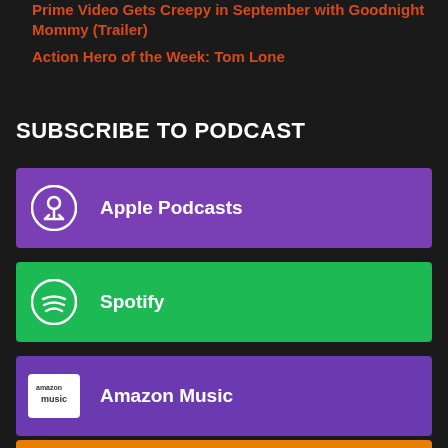Prime Video Gets Creepy in September with Goodnight Mommy (Trailer)
Action Hero of the Week: Tom Lone
SUBSCRIBE TO PODCAST
Apple Podcasts
Spotify
Amazon Music
Stitcher